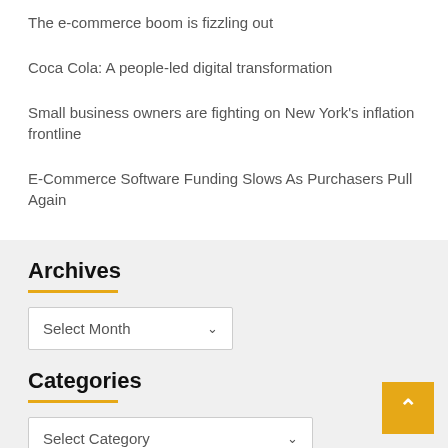The e-commerce boom is fizzling out
Coca Cola: A people-led digital transformation
Small business owners are fighting on New York's inflation frontline
E-Commerce Software Funding Slows As Purchasers Pull Again
Archives
Select Month
Categories
Select Category